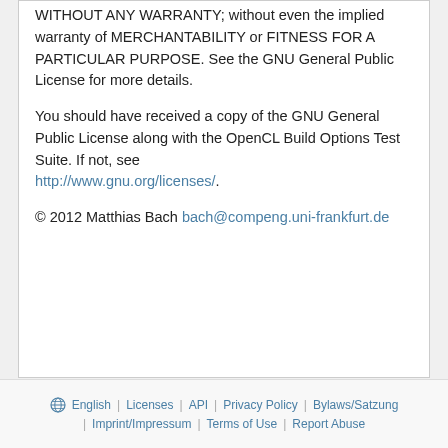WITHOUT ANY WARRANTY; without even the implied warranty of MERCHANTABILITY or FITNESS FOR A PARTICULAR PURPOSE. See the GNU General Public License for more details.

You should have received a copy of the GNU General Public License along with the OpenCL Build Options Test Suite. If not, see http://www.gnu.org/licenses/.

© 2012 Matthias Bach bach@compeng.uni-frankfurt.de
English | Licenses | API | Privacy Policy | Bylaws/Satzung | Imprint/Impressum | Terms of Use | Report Abuse